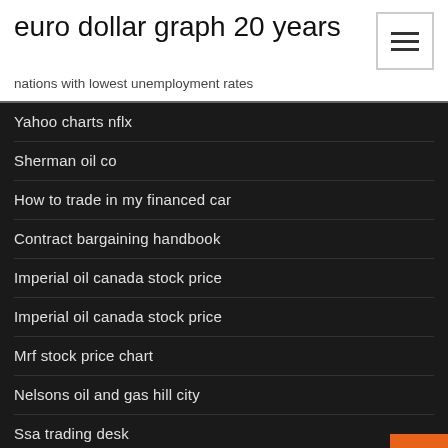euro dollar graph 20 years
nations with lowest unemployment rates
Yahoo charts nflx
Sherman oil co
How to trade in my financed car
Contract bargaining handbook
Imperial oil canada stock price
Imperial oil canada stock price
Mrf stock price chart
Nelsons oil and gas hill city
Ssa trading desk
Credit spread risk rate